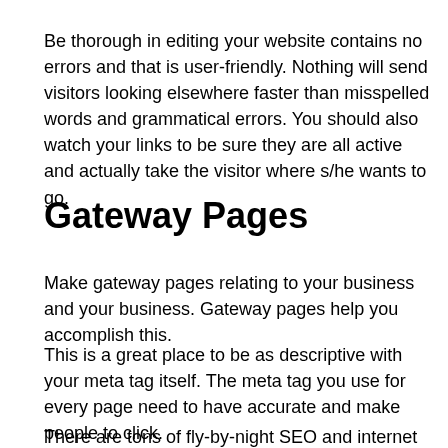Be thorough in editing your website contains no errors and that is user-friendly. Nothing will send visitors looking elsewhere faster than misspelled words and grammatical errors. You should also watch your links to be sure they are all active and actually take the visitor where s/he wants to go.
Gateway Pages
Make gateway pages relating to your business and your business. Gateway pages help you accomplish this.
This is a great place to be as descriptive with your meta tag itself. The meta tag you use for every page need to have accurate and make people to click.
There are tons of fly-by-night SEO and internet marketing